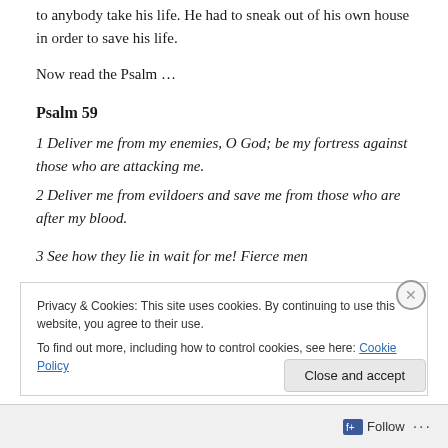to anybody take his life. He had to sneak out of his own house in order to save his life.
Now read the Psalm …
Psalm 59
1 Deliver me from my enemies, O God; be my fortress against those who are attacking me.
2 Deliver me from evildoers and save me from those who are after my blood.
3 See how they lie in wait for me! Fierce men
Privacy & Cookies: This site uses cookies. By continuing to use this website, you agree to their use.
To find out more, including how to control cookies, see here: Cookie Policy
Close and accept
Follow